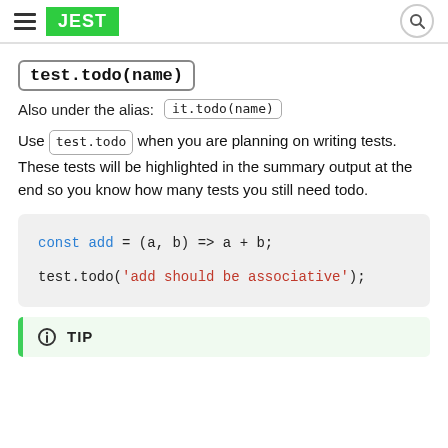JEST
test.todo(name)
Also under the alias: it.todo(name)
Use test.todo when you are planning on writing tests. These tests will be highlighted in the summary output at the end so you know how many tests you still need todo.
TIP